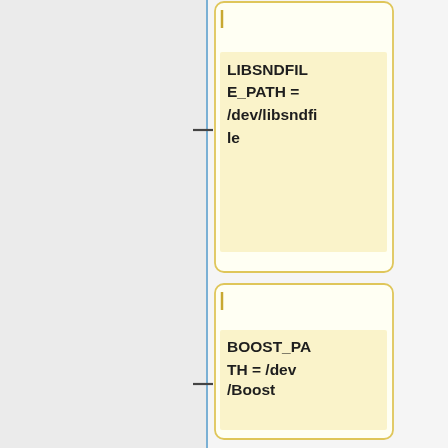[Figure (flowchart): Vertical flowchart showing a series of configuration path nodes connected by a vertical line with horizontal dash connectors. Nodes shown: LIBSNDFILE_PATH = /dev/libsndfile, BOOST_PATH = /dev/Boost, VLD_PATH = /dev/vld, BONJOUR_PATH = /dev/Bonjour, ASIO_PATH = /dev/mumble/asio]
LIBSNDFILE_PATH = /dev/libsndfile
BOOST_PATH = /dev/Boost
VLD_PATH = /dev/vld
BONJOUR_PATH = /dev/Bonjour
ASIO_PATH = /dev/mumble/asio